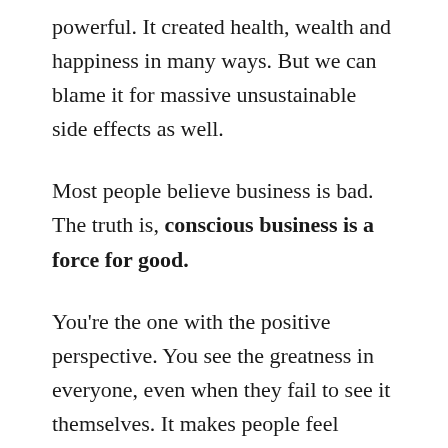powerful. It created health, wealth and happiness in many ways. But we can blame it for massive unsustainable side effects as well.
Most people believe business is bad. The truth is, conscious business is a force for good.
You're the one with the positive perspective. You see the greatness in everyone, even when they fail to see it themselves. It makes people feel everything is possible.